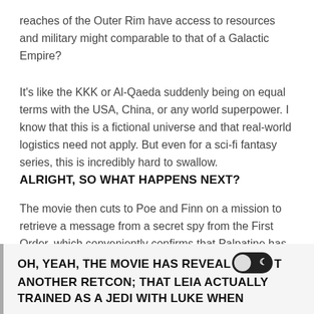reaches of the Outer Rim have access to resources and military might comparable to that of a Galactic Empire?
It's like the KKK or Al-Qaeda suddenly being on equal terms with the USA, China, or any world superpower. I know that this is a fictional universe and that real-world logistics need not apply. But even for a sci-fi fantasy series, this is incredibly hard to swallow.
ALRIGHT, SO WHAT HAPPENS NEXT?
The movie then cuts to Poe and Finn on a mission to retrieve a message from a secret spy from the First Order, which conveniently confirms that Palpatine has returned. Meanwhile, on the new jungle planet where the Resistance base is now located, Rey is busy undergoing Jedi training with Leia.
OH, YEAH, THE MOVIE HAS REVEALED ANOTHER RETCON; THAT LEIA ACTUALLY TRAINED AS A JEDI WITH LUKE WHEN